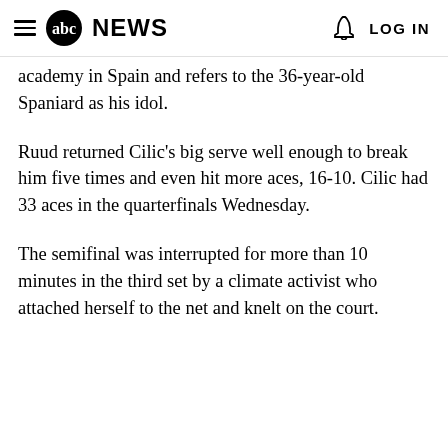abc NEWS  LOG IN
academy in Spain and refers to the 36-year-old Spaniard as his idol.
Ruud returned Cilic's big serve well enough to break him five times and even hit more aces, 16-10. Cilic had 33 aces in the quarterfinals Wednesday.
The semifinal was interrupted for more than 10 minutes in the third set by a climate activist who attached herself to the net and knelt on the court.